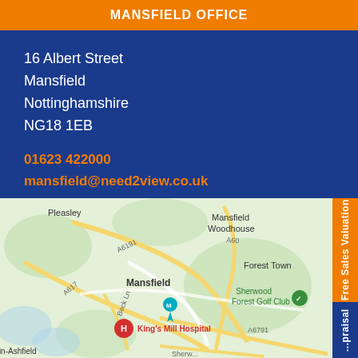MANSFIELD OFFICE
16 Albert Street
Mansfield
Nottinghamshire
NG18 1EB
01623 422000
mansfield@need2view.co.uk
[Figure (map): Google Maps view of Mansfield area showing King's Mill Hospital, Mansfield Woodhouse, Forest Town, Sherwood Forest Golf Club, Pleasley, and nearby roads including A6191, A617, A60, A460, Beck Ln, Sherwood.]
Free Sales Valuation
...praisal